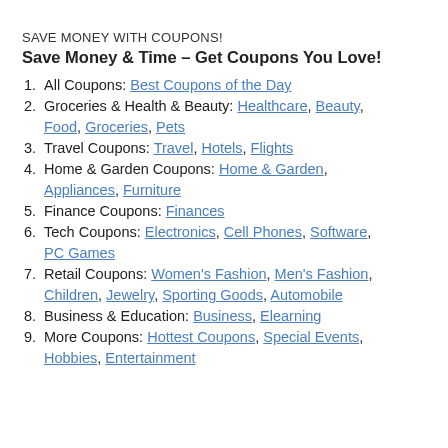SAVE MONEY WITH COUPONS!
Save Money & Time – Get Coupons You Love!
All Coupons: Best Coupons of the Day
Groceries & Health & Beauty: Healthcare, Beauty, Food, Groceries, Pets
Travel Coupons: Travel, Hotels, Flights
Home & Garden Coupons: Home & Garden, Appliances, Furniture
Finance Coupons: Finances
Tech Coupons: Electronics, Cell Phones, Software, PC Games
Retail Coupons: Women's Fashion, Men's Fashion, Children, Jewelry, Sporting Goods, Automobile
Business & Education: Business, Elearning
More Coupons: Hottest Coupons, Special Events, Hobbies, Entertainment